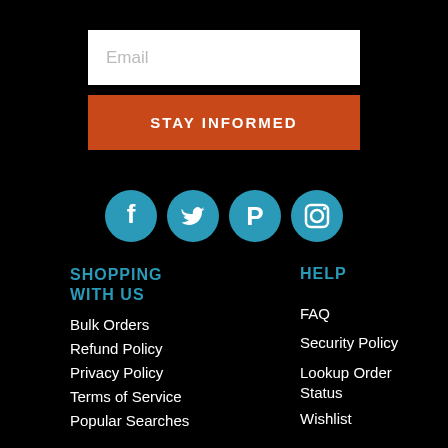Email
STAY INFORMED
[Figure (illustration): Four social media icon circles (Facebook, Twitter, Pinterest, Instagram) in teal/blue color on black background]
SHOPPING WITH US
Bulk Orders
Refund Policy
Privacy Policy
Terms of Service
Popular Searches
HELP
FAQ
Security Policy
Lookup Order Status
Wishlist